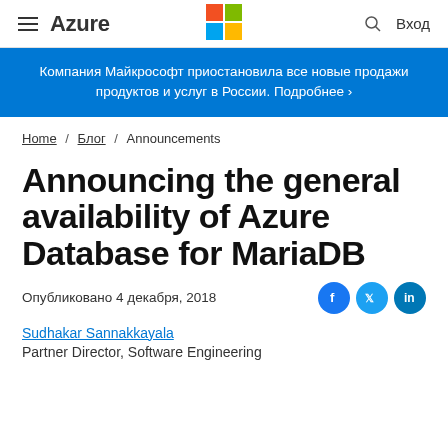≡ Azure | Microsoft logo | 🔍 Вход
Компания Майкрософт приостановила все новые продажи продуктов и услуг в России. Подробнее ›
Home / Блог / Announcements
Announcing the general availability of Azure Database for MariaDB
Опубликовано 4 декабря, 2018
Sudhakar Sannakkayala
Partner Director, Software Engineering